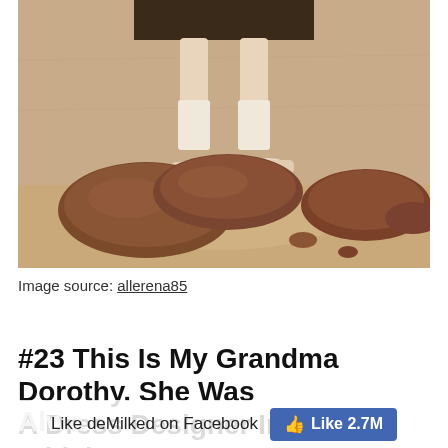[Figure (photo): Sepia-toned vintage photograph showing the lower half of a child standing on large rocks on a sandy beach, wearing a dark skirt, white knee socks, and light shoes.]
Image source: allerena85
#23 This Is My Grandma Dorothy. She Was A Dress Designer In The 50s Which Always...
Like deMilked on Facebook
Like 2.7M